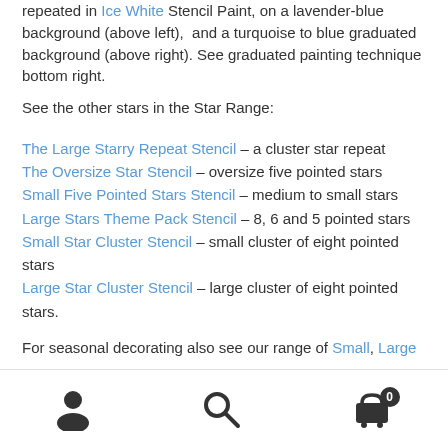repeated in Ice White Stencil Paint, on a lavender-blue background (above left),  and a turquoise to blue graduated background (above right). See graduated painting technique bottom right.
See the other stars in the Star Range:
The Large Starry Repeat Stencil – a cluster star repeat
The Oversize Star Stencil – oversize five pointed stars
Small Five Pointed Stars Stencil – medium to small stars
Large Stars Theme Pack Stencil – 8, 6 and 5 pointed stars
Small Star Cluster Stencil – small cluster of eight pointed stars
Large Star Cluster Stencil – large cluster of eight pointed stars.
For seasonal decorating also see our range of Small, Large